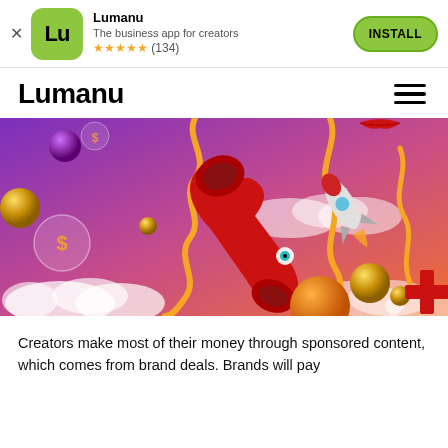[Figure (screenshot): App install banner for Lumanu showing logo, app name, tagline, star rating, and INSTALL button]
Lumanu
[Figure (illustration): Colorful hero banner with purple/pink gradient background featuring a red telephone handset, rocket ship, dollar sign bubbles, gold spheres, orange wavy ribbons, clouds, and various 3D decorative elements]
Creators make most of their money through sponsored content, which comes from brand deals. Brands will pay